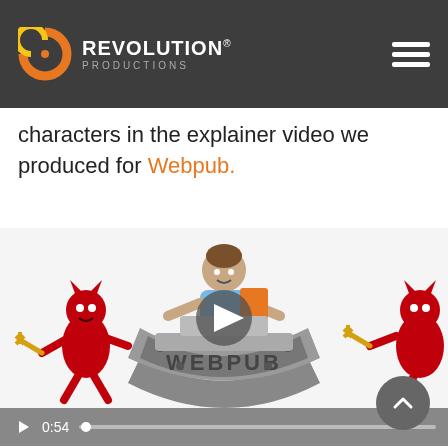Revolution Productions
characters in the explainer video we produced for Webpub.
[Figure (screenshot): Animated explainer video screenshot showing cartoon characters: a person behind a desk shaped like a WEBPUB shield/crest, flanked by two red devil characters pulling with gold pitchforks. A video play button is overlaid on the frame.]
0:54